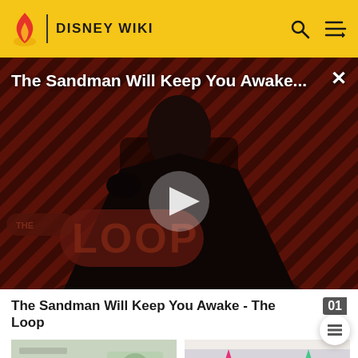DISNEY WIKI
[Figure (screenshot): Video thumbnail showing a dark-cloaked figure with a raven on striped red/brown background, with 'THE LOOP' logo overlay and a play button. Title overlay reads 'The Sandman Will Keep You Awake...']
The Sandman Will Keep You Awake - The Loop
[Figure (screenshot): Thumbnail image showing Norm rapping - animated cartoon scene]
Norm rapping
[Figure (screenshot): Thumbnail image showing a sarcastic old head of Norm with pink and green star shapes]
A sarcastic old head of Norm during Dance, Baby! in "Candace Disconnected"
[Figure (screenshot): Bottom left thumbnail - partial view of animated scene]